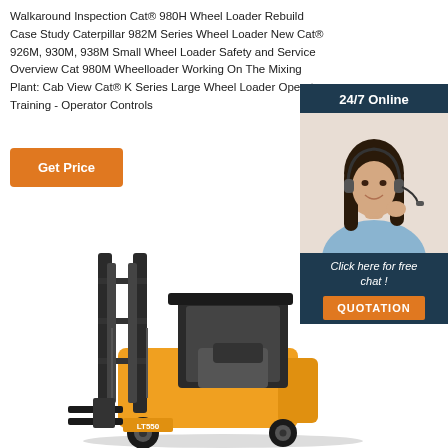Walkaround Inspection Cat® 980H Wheel Loader Rebuild Case Study Caterpillar 982M Series Wheel Loader New Cat® 926M, 930M, 938M Small Wheel Loader Safety and Service Overview Cat 980M Wheelloader Working On The Mixing Plant: Cab View Cat® K Series Large Wheel Loader Operator Training - Operator Controls
[Figure (other): Orange 'Get Price' button]
[Figure (other): 24/7 Online chat widget with a woman wearing a headset, 'Click here for free chat!' text, and an orange QUOTATION button]
[Figure (photo): Yellow electric forklift (LT550) photographed from the front-left angle, showing the mast, forks, cab, and operator seat.]